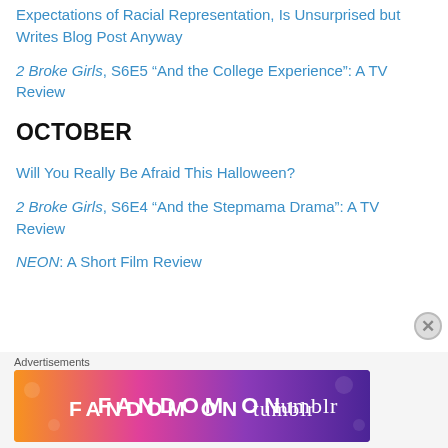Expectations of Racial Representation, Is Unsurprised but Writes Blog Post Anyway
2 Broke Girls, S6E5 “And the College Experience”: A TV Review
OCTOBER
Will You Really Be Afraid This Halloween?
2 Broke Girls, S6E4 “And the Stepmama Drama”: A TV Review
NEON: A Short Film Review
Advertisements
[Figure (infographic): Fandom on Tumblr advertisement banner with colorful gradient background (orange to purple) and white text reading FANDOM ON tumblr]